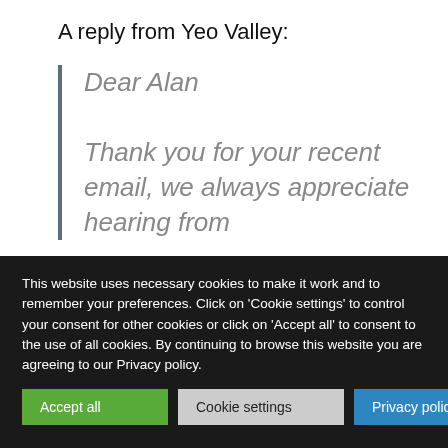A reply from Yeo Valley:
Dear Alan

Thank you for your recent email, we always appreciate hearing from
This website uses necessary cookies to make it work and to remember your preferences. Click on 'Cookie settings' to control your consent for other cookies or click on 'Accept all' to consent to the use of all cookies. By continuing to browse this website you are agreeing to our Privacy policy.
Accept all
Cookie settings
Privacy policy